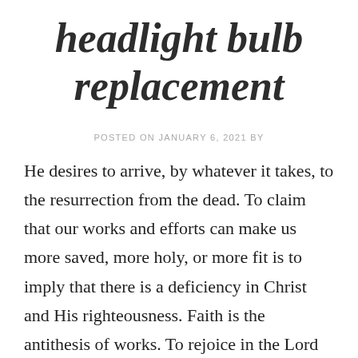headlight bulb replacement
POSTED ON JANUARY 6, 2021 BY
He desires to arrive, by whatever it takes, to the resurrection from the dead. To claim that our works and efforts can make us more saved, more holy, or more fit is to imply that there is a deficiency in Christ and His righteousness. Faith is the antithesis of works. To rejoice in the Lord is not a mystical feeling of euphoria. It does not mean that true